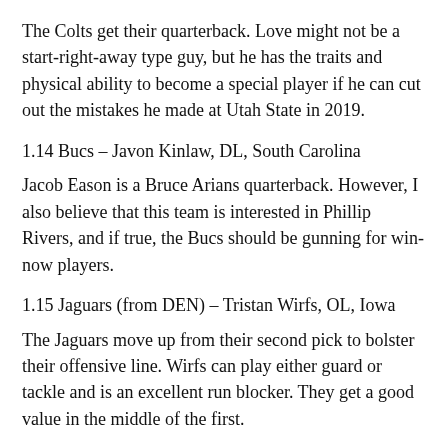The Colts get their quarterback. Love might not be a start-right-away type guy, but he has the traits and physical ability to become a special player if he can cut out the mistakes he made at Utah State in 2019.
1.14 Bucs – Javon Kinlaw, DL, South Carolina
Jacob Eason is a Bruce Arians quarterback. However, I also believe that this team is interested in Phillip Rivers, and if true, the Bucs should be gunning for win-now players.
1.15 Jaguars (from DEN) – Tristan Wirfs, OL, Iowa
The Jaguars move up from their second pick to bolster their offensive line. Wirfs can play either guard or tackle and is an excellent run blocker. They get a good value in the middle of the first.
1.16 Jets (from ATL) – Andrew Thomas, OT, Georgia